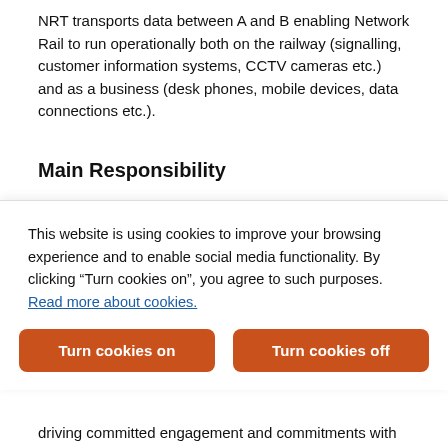NRT transports data between A and B enabling Network Rail to run operationally both on the railway (signalling, customer information systems, CCTV cameras etc.) and as a business (desk phones, mobile devices, data connections etc.).
Main Responsibility
What will you be doing?
1. Perform Tier 1 network surveillance to identify alarms/issues on the remote management terminals (i.e. Netcool, SCADA, FTN Transmission, GSM-R Radio and GSM-R Core Switching Element Managers) with a view to investigating or escalating to Tier 2 for in-depth technical
This website is using cookies to improve your browsing experience and to enable social media functionality. By clicking “Turn cookies on”, you agree to such purposes. Read more about cookies.
driving committed engagement and commitments with